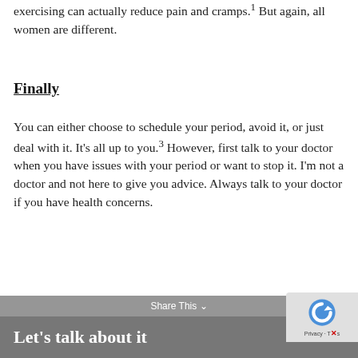exercising can actually reduce pain and cramps.¹ But again, all women are different.
Finally
You can either choose to schedule your period, avoid it, or just deal with it. It's all up to you.³ However, first talk to your doctor when you have issues with your period or want to stop it. I'm not a doctor and not here to give you advice. Always talk to your doctor if you have health concerns.
Let's talk about it